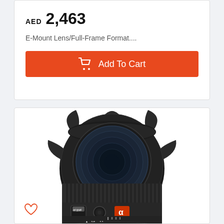AED  2,463
E-Mount Lens/Full-Frame Format....
Add To Cart
[Figure (photo): Sony E-Mount full-frame wide angle lens (black), front view showing fisheye-style front element, focus ring with aperture markings (16, 11), AF/MF switch, manual focus override button, Sony G Master logo badge in orange/red, and E-mount label at base.]
♡